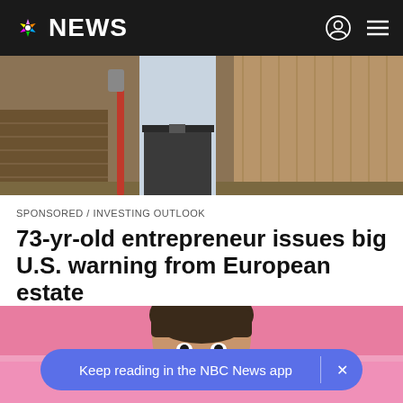NBC NEWS
[Figure (photo): Person in white shirt and dark pants standing outdoors near stacked wood and tools]
SPONSORED / INVESTING OUTLOOK
73-yr-old entrepreneur issues big U.S. warning from European estate
[Figure (photo): Woman with bangs looking over a pink surface, eyes visible, holding something below her nose]
Keep reading in the NBC News app